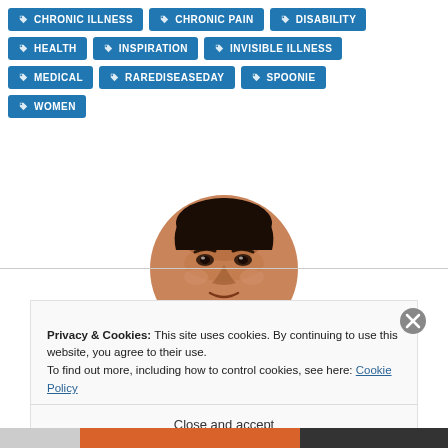CHRONIC ILLNESS
CHRONIC PAIN
DISABILITY
HEALTH
INSPIRATION
INVISIBLE ILLNESS
MEDICAL
RAREDISEASEDAY
SPOONIE
WOMEN
[Figure (illustration): Circular portrait illustration of a person with dark skin looking upward, cropped to show face and top of head]
Privacy & Cookies: This site uses cookies. By continuing to use this website, you agree to their use.
To find out more, including how to control cookies, see here: Cookie Policy
Close and accept